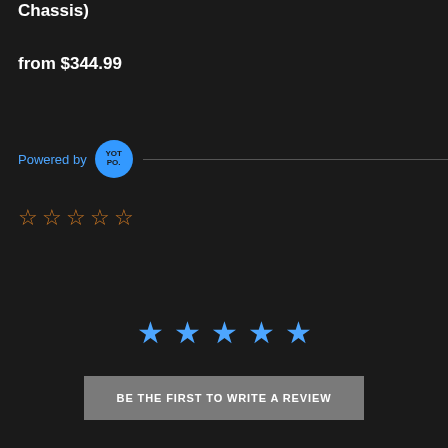Chassis)
from $344.99
Powered by YOTPO.
[Figure (other): Five empty star rating icons in orange/gold outline style]
[Figure (other): Five filled blue star rating icons]
BE THE FIRST TO WRITE A REVIEW